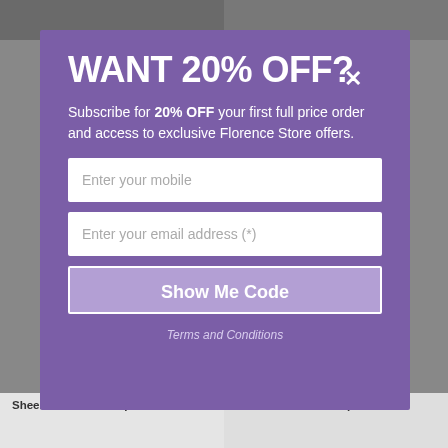[Figure (screenshot): Background showing two fashion model photos at the top, partially visible behind a modal overlay]
WANT 20% OFF?
Subscribe for 20% OFF your first full price order and access to exclusive Florence Store offers.
Enter your mobile
Enter your email address (*)
Show Me Code
Terms and Conditions
Sheer Floral Print Top
Linen Lace Insert Top